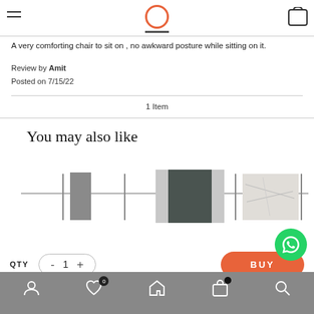Navigation header with hamburger menu, circular logo, and cart icon
A very comforting chair to sit on , no awkward posture while sitting on it.
Review by Amit
Posted on 7/15/22
1 Item
You may also like
[Figure (photo): Product carousel showing furniture items with vertical dividers]
QTY  -  1  +  BUY
Bottom navigation bar with user, heart (0), home, bag, and search icons